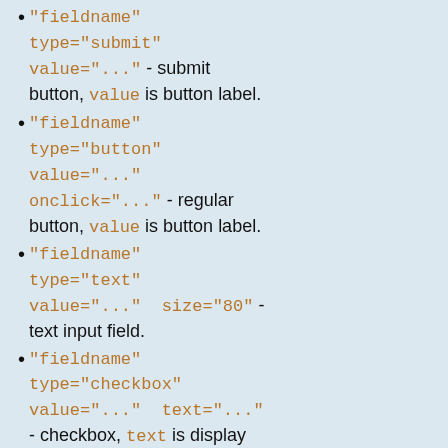"fieldname" type="submit" value="..." - submit button, value is button label.
"fieldname" type="button" value="..." onclick="..." - regular button, value is button label.
"fieldname" type="text" value="..." size="80" - text input field.
"fieldname" type="checkbox" value="..." text="..." - checkbox, text is display text.